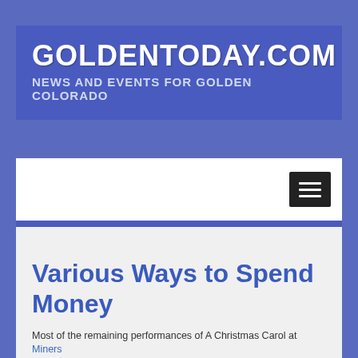GOLDENTODAY.COM
NEWS AND EVENTS FOR GOLDEN COLORADO
[Figure (screenshot): Navigation bar with hamburger menu button on white background]
Various Ways to Spend Money
Most of the remaining performances of A Christmas Carol at Miners